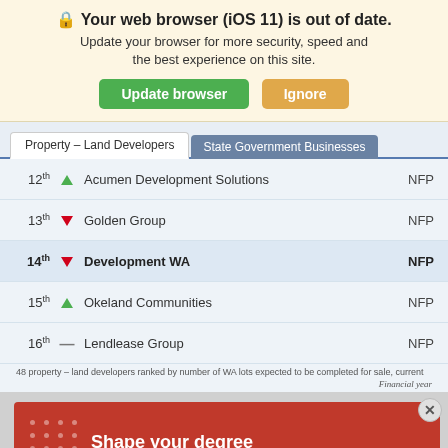🔒 Your web browser (iOS 11) is out of date. Update your browser for more security, speed and the best experience on this site.
Update browser | Ignore
| Rank |  | Name | Type |
| --- | --- | --- | --- |
| 12th | ▲ | Acumen Development Solutions | NFP |
| 13th | ▼ | Golden Group | NFP |
| 14th | ▼ | Development WA | NFP |
| 15th | ▲ | Okeland Communities | NFP |
| 16th | — | Lendlease Group | NFP |
48 property – land developers ranked by number of WA lots expected to be completed for sale, current
Financial year
[Figure (infographic): Red advertisement banner with white dot pattern and text 'Shape your degree around your lifestyle']